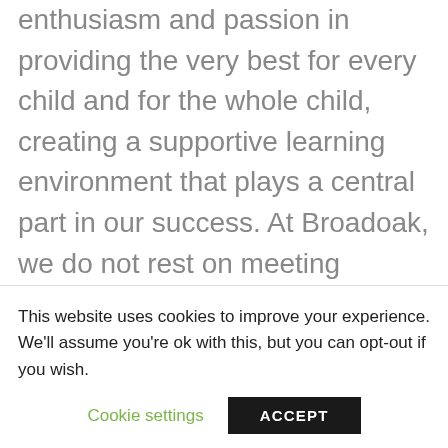enthusiasm and passion in providing the very best for every child and for the whole child, creating a supportive learning environment that plays a central part in our success. At Broadoak, we do not rest on meeting potential, we maximise potential and look beyond it because we care that each and every student moves onto the next stage of their journey with the confidence to
This website uses cookies to improve your experience. We'll assume you're ok with this, but you can opt-out if you wish.
Cookie settings | ACCEPT